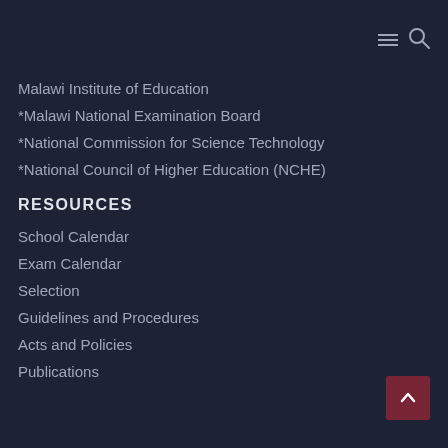Navigation icons (hamburger menu and search)
Malawi Institute of Education
*Malawi National Examination Board
*National Commission for Science Technology
*National Council of Higher Education (NCHE)
RESOURCES
School Calendar
Exam Calendar
Selection
Guidelines and Procedures
Acts and Policies
Publications